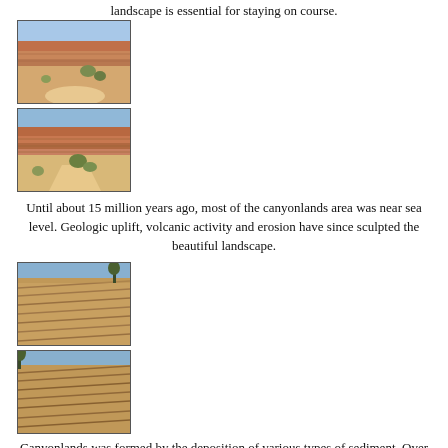landscape is essential for staying on course.
[Figure (photo): Desert canyon landscape with red rock formations and sparse vegetation, top photo]
[Figure (photo): Desert canyon landscape with layered red rock cliffs and desert shrubs, bottom photo]
Until about 15 million years ago, most of the canyonlands area was near sea level. Geologic uplift, volcanic activity and erosion have since sculpted the beautiful landscape.
[Figure (photo): Close-up of layered sandstone rock formations with diagonal striations, top photo]
[Figure (photo): Close-up of layered sandstone rock formations with diagonal striations, bottom photo]
Canyonlands was formed by the deposition of various types of sediment. Over millions of years, these soft sediments harden to form sedimentary rock layers which comprise the entire area.
[Figure (photo): Sandy desert floor with blue wildflowers and dry scrub brush]